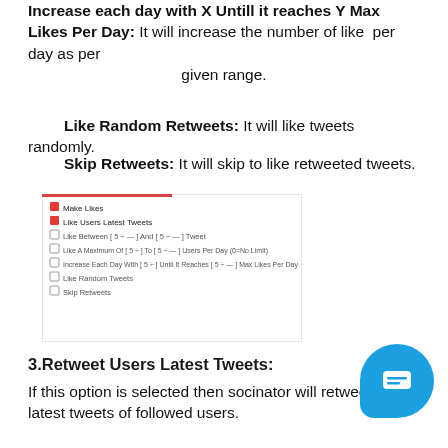Increase each day with X Untill it reaches Y Max Likes Per Day: It will increase the number of like per day as per given range.
Like Random Retweets: It will like tweets randomly.
Skip Retweets: It will skip to like retweeted tweets.
[Figure (screenshot): Screenshot of a settings panel showing checkboxes for 'Make Likes', 'Like Users Latest Tweets', 'Like Between X and Y Tweet', 'Like A Maximum of X To Y Users Per Day', 'Increase Each Day With X Until It Reaches Y Max Likes Per Day', 'Like Random Tweets', 'Skip Retweets']
3.Retweet Users Latest Tweets:
If this option is selected then socinator will retweet the latest tweets of followed users.
Retweet Between X And Y Tweet: It will Retweet number of tweets of followed users as per given range.
Retweet a Maximum of X To Y Users Per Day: It will retweet maximum number of tweets of followed users per day as per given range.
Increase each day with X Untill it reaches Y Max